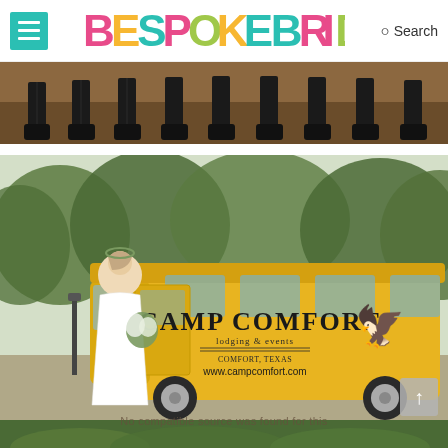BESPOKE BRIDE — Search
[Figure (photo): Cropped photo showing the lower halves of several people in dark trousers and black boots/shoes standing in a row against a russet/brown background]
[Figure (photo): A bride in a white gown holding a greenery bouquet stands beside a vintage yellow Camp Comfort van/bus. Text on van reads: CAMP COMFORT, lodging & events, www.campcomfort.com. Trees visible in background.]
No compatible source was found for this
[Figure (photo): Partial bottom strip showing green foliage/trees]